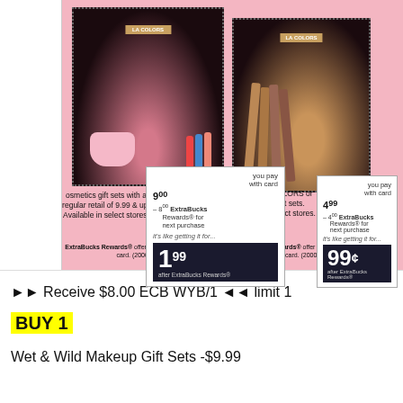[Figure (photo): CVS pharmacy ad showing two product sections on pink background. Left: LA Colors nail/cosmetics gift set with LED lamp, priced at 9.99 you pay with card, minus 8.00 ExtraBucks Rewards for next purchase, like getting it for 1.99 after ExtraBucks Rewards. Right: LA Colors/wet n wild lip gloss gift sets, priced 4.99 you pay with card, minus 4.00 ExtraBucks Rewards for next purchase, like getting it for 99 cents after ExtraBucks Rewards.]
osmetics gift sets with a regular retail of 9.99 & up. Available in select stores.
9⁰⁰ you pay with card
- 8⁰⁰ ExtraBucks Rewards® for next purchase
it's like getting it for...
1⁹⁹
after ExtraBucks Rewards®
Select L.A. COLORS or wet n wild gift sets. Available in select stores.
4⁹⁹ you pay with card
- 4⁰⁰ ExtraBucks Rewards® for next purchase
it's like getting it for...
99¢
after ExtraBucks Rewards®
ExtraBucks Rewards® offer limit of 3 per household with card. (20005298082)
ExtraBucks Rewards® offer limit of 3 per household with card. (20005298081)
►► Receive $8.00 ECB WYB/1 ◄◄ limit 1
BUY 1
Wet & Wild Makeup Gift Sets -$9.99